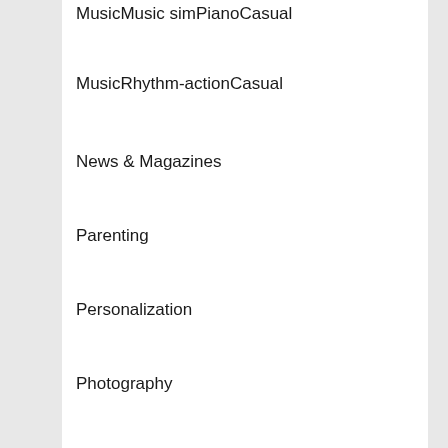MusicMusic simPianoCasual
MusicRhythm-actionCasual
News & Magazines
Parenting
Personalization
Photography
Productivity
Puzzle
Puzzle
PuzzleAction & Adventure